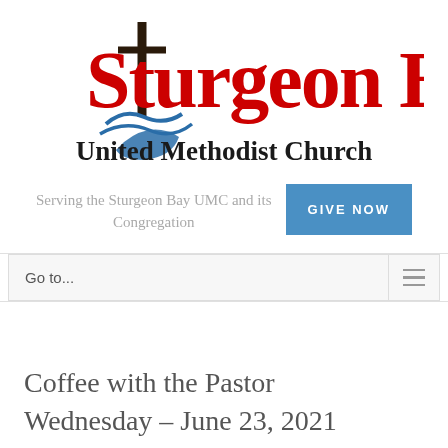[Figure (logo): Sturgeon Bay United Methodist Church logo with cross and wave graphic, red text for 'Sturgeon Bay' and black text for 'United Methodist Church']
Serving the Sturgeon Bay UMC and its Congregation
GIVE NOW
Go to...
Coffee with the Pastor Wednesday – June 23, 2021